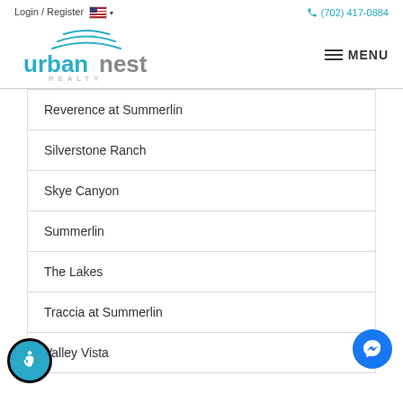Login / Register  🇺🇸 ∨   (702) 417-0884
[Figure (logo): Urban Nest Realty logo with teal wave symbol above stylized text 'urbannest' and 'REALTY' below]
Reverence at Summerlin
Silverstone Ranch
Skye Canyon
Summerlin
The Lakes
Traccia at Summerlin
Valley Vista